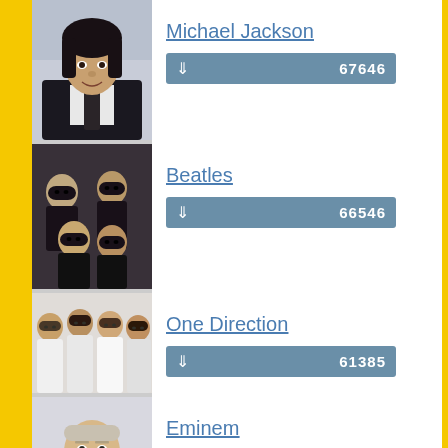[Figure (photo): Photo of Michael Jackson]
Michael Jackson
67646
[Figure (photo): Photo of The Beatles]
Beatles
66546
[Figure (photo): Photo of One Direction]
One Direction
61385
[Figure (photo): Photo of Eminem]
Eminem
59473
[Figure (photo): Photo of Camila Cabello]
Camila Cabello